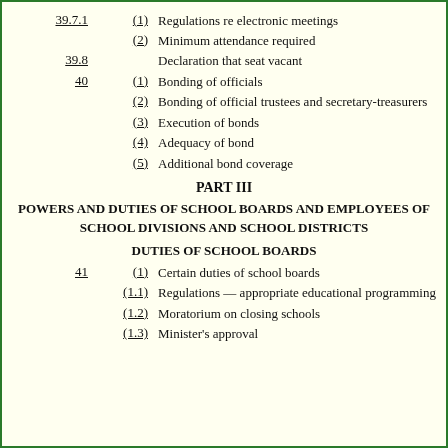39.7.1 (1) Regulations re electronic meetings
(2) Minimum attendance required
39.8 Declaration that seat vacant
40 (1) Bonding of officials
(2) Bonding of official trustees and secretary-treasurers
(3) Execution of bonds
(4) Adequacy of bond
(5) Additional bond coverage
PART III
POWERS AND DUTIES OF SCHOOL BOARDS AND EMPLOYEES OF SCHOOL DIVISIONS AND SCHOOL DISTRICTS
DUTIES OF SCHOOL BOARDS
41 (1) Certain duties of school boards
(1.1) Regulations — appropriate educational programming
(1.2) Moratorium on closing schools
(1.3) Minister's approval